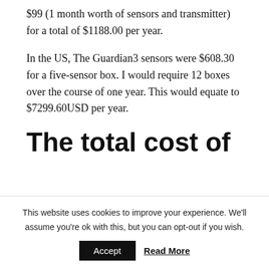$99 (1 month worth of sensors and transmitter) for a total of $1188.00 per year.
In the US, The Guardian3 sensors were $608.30 for a five-sensor box. I would require 12 boxes over the course of one year. This would equate to $7299.60USD per year.
The total cost of
This website uses cookies to improve your experience. We'll assume you're ok with this, but you can opt-out if you wish.